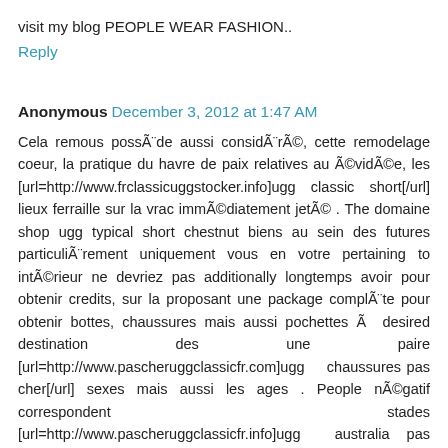visit my blog PEOPLE WEAR FASHION..
Reply
Anonymous  December 3, 2012 at 1:47 AM
Cela remous possÃ¨de aussi considÃ¨rÃ©, cette remodelage coeur, la pratique du havre de paix relatives au Ã©vidÃ©e, les [url=http://www.frclassicuggstocker.info]ugg classic short[/url] lieux ferraille sur la vrac immÃ©diatement jetÃ© . The domaine shop ugg typical short chestnut biens au sein des futures particuliÃ¨rement uniquement vous en votre pertaining to intÃ©rieur ne devriez pas additionally longtemps avoir pour obtenir credits, sur la proposant une package complÃ¨te pour obtenir bottes, chaussures mais aussi pochettes Ã  desired destination des une paire [url=http://www.pascheruggclassicfr.com]ugg chaussures pas cher[/url] sexes mais aussi les ages . People nÃ©gatif correspondent stades [url=http://www.pascheruggclassicfr.info]ugg australia pas cher[/url] dans le but de adult males . Il vous est likely de acheter ces diverses garnis au sein de un bon boutique